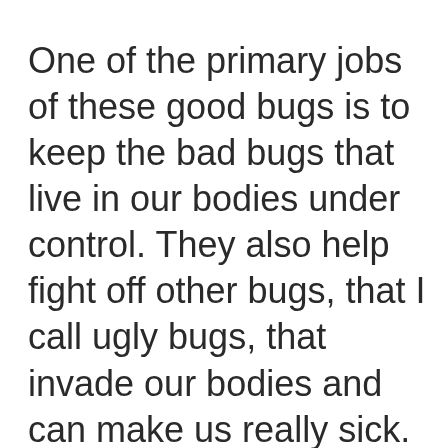One of the primary jobs of these good bugs is to keep the bad bugs that live in our bodies under control. They also help fight off other bugs, that I call ugly bugs, that invade our bodies and can make us really sick. I call these invaders “ugly bugs” because when they attack, for at least a few days they can make the most beautiful person in the world look ugly. The bad bugs that live within us are normally kept in check by the good bugs